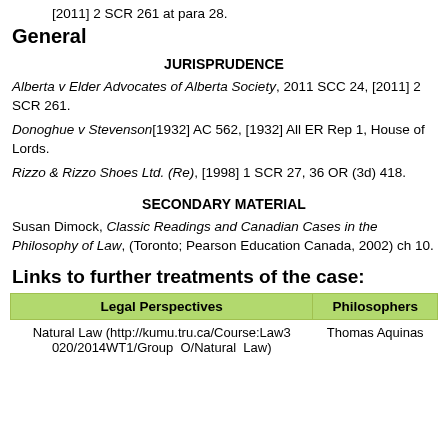[2011] 2 SCR 261 at para 28.
General
JURISPRUDENCE
Alberta v Elder Advocates of Alberta Society, 2011 SCC 24, [2011] 2 SCR 261.
Donoghue v Stevenson[1932] AC 562, [1932] All ER Rep 1, House of Lords.
Rizzo & Rizzo Shoes Ltd. (Re), [1998] 1 SCR 27, 36 OR (3d) 418.
SECONDARY MATERIAL
Susan Dimock, Classic Readings and Canadian Cases in the Philosophy of Law, (Toronto; Pearson Education Canada, 2002) ch 10.
Links to further treatments of the case:
| Legal Perspectives | Philosophers |
| --- | --- |
| Natural Law (http://kumu.tru.ca/Course:Law3020/2014WT1/Group O/Natural Law) | Thomas Aquinas |